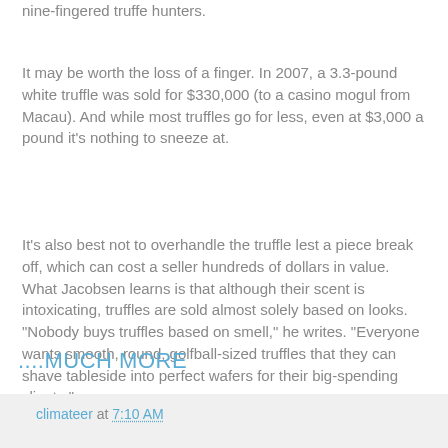nine-fingered truffe hunters.
It may be worth the loss of a finger. In 2007, a 3.3-pound white truffle was sold for $330,000 (to a casino mogul from Macau). And while most truffles go for less, even at $3,000 a pound it's nothing to sneeze at.
It's also best not to overhandle the truffle lest a piece break off, which can cost a seller hundreds of dollars in value. What Jacobsen learns is that although their scent is intoxicating, truffles are sold almost solely based on looks. "Nobody buys truffles based on smell," he writes. "Everyone wants smooth, round, golfball-sized truffles that they can shave tableside into perfect wafers for their big-spending clients."....
....MUCH MORE
climateer at 7:10 AM